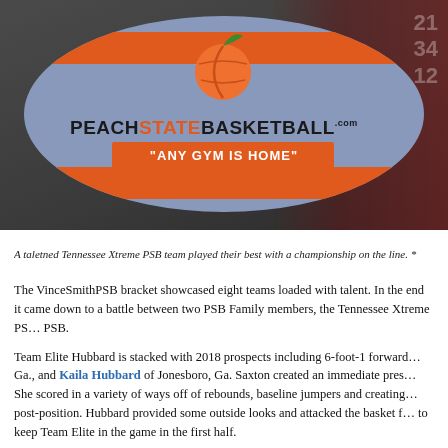[Figure (photo): Photo of a Peach State Basketball branded oval banner/backdrop with peach and basketball logo, text 'PEACHSTATEBASKETBALL.com' and '"ANY GYM IS HOME"'. Basketball players in red uniforms visible in background.]
A taletned Tennessee Xtreme PSB team played their best with a championship on the line. *
The VinceSmithPSB bracket showcased eight teams loaded with talent. In the end it came down to a battle between two PSB Family members, the Tennessee Xtreme PSB and Team Elite PSB.
Team Elite Hubbard is stacked with 2018 prospects including 6-foot-1 forward Saxton of Ga., and Kaila Hubbard of Jonesboro, Ga. Saxton created an immediate presence in the post. She scored in a variety of ways off of rebounds, baseline jumpers and creating contact in the post-position. Hubbard provided some outside looks and attacked the basket from the perimeter to keep Team Elite in the game in the first half.